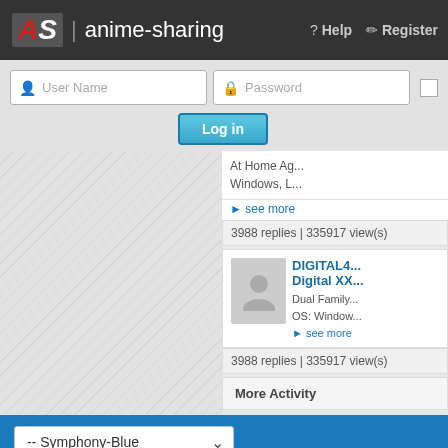AS | anime-sharing    Help  Register
[Figure (screenshot): Login form with User Name and Password fields and Log in button]
At Home Ag... Windows, L...
▸ see more
3988 replies | 335917 view(s)
[Figure (screenshot): User avatar placeholder (grey silhouette)]
DIGITAL4... Digital XX...
Dual Family... OS: Window...
▸ see more
3988 replies | 335917 view(s)
More Activity
-- Symphony-Blue